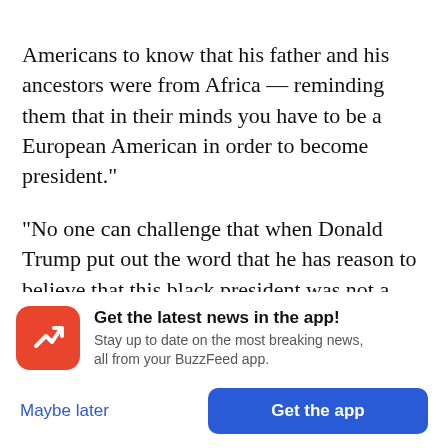Americans to know that his father and his ancestors were from Africa — reminding them that in their minds you have to be a European American in order to become president."

"No one can challenge that when Donald Trump put out the word that he has reason to believe that this black president was not a citizen, that he [didn't] know at the time that he was."

Meeks had the final word Friday. In recent days, he
[Figure (infographic): BuzzFeed app promotional banner with red rounded-square logo showing a white upward-trending arrow, headline 'Get the latest news in the app!', subtext 'Stay up to date on the most breaking news, all from your BuzzFeed app.', with 'Maybe later' and 'Get the app' buttons.]